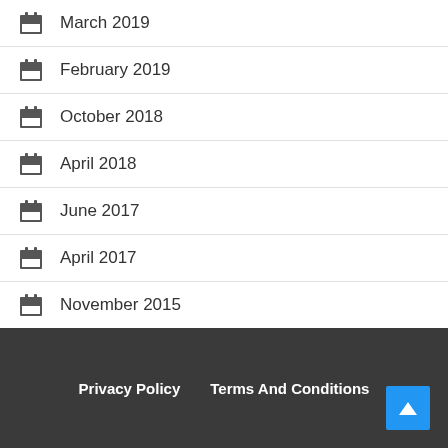March 2019
February 2019
October 2018
April 2018
June 2017
April 2017
November 2015
April 2014
January 2013
Privacy Policy   Terms And Conditions